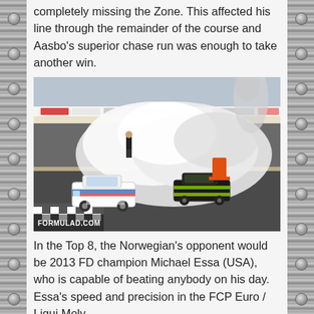completely missing the Zone. This affected his line through the remainder of the course and Aasbo's superior chase run was enough to take another win.
[Figure (photo): Two drift racing cars on a track surrounded by large clouds of tire smoke. A person stands near the barrier in the background. The leading car is white with sponsors and the second car is dark-colored. Photo credit: FORMULAD.COM]
In the Top 8, the Norwegian's opponent would be 2013 FD champion Michael Essa (USA), who is capable of beating anybody on his day. Essa's speed and precision in the FCP Euro / Liqui Moly